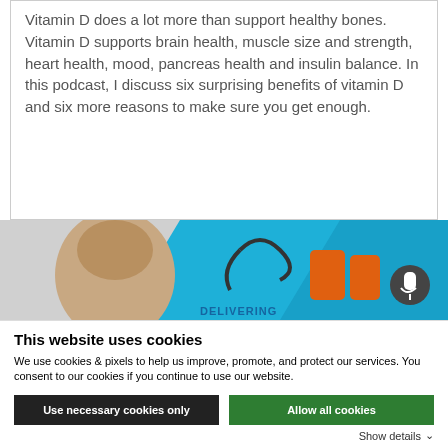Vitamin D does a lot more than support healthy bones. Vitamin D supports brain health, muscle size and strength, heart health, mood, pancreas health and insulin balance. In this podcast, I discuss six surprising benefits of vitamin D and six more reasons to make sure you get enough.
[Figure (photo): A screenshot showing a man's face on the left, a stethoscope graphic in the center, orange shoes partially visible, and a blue background with a microphone icon on the right. Text partially visible reads 'DELIVERING'.]
This website uses cookies
We use cookies & pixels to help us improve, promote, and protect our services. You consent to our cookies if you continue to use our website.
Use necessary cookies only
Allow all cookies
Show details